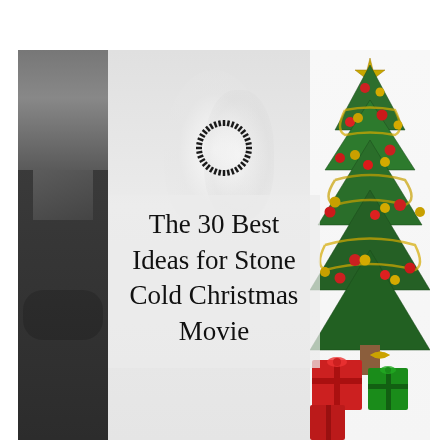[Figure (photo): Composite image with three panels: left panel shows a man in a dark suit, center panel shows a ghostly/faded figure on white/gray background with a circular sunburst logo above, right panel shows a decorated Christmas tree with red and gold ornaments and wrapped gifts in red and green at the base.]
The 30 Best Ideas for Stone Cold Christmas Movie